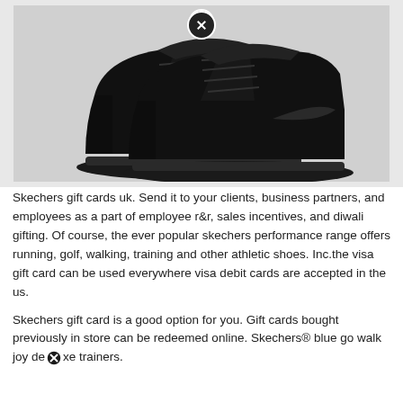[Figure (photo): A pair of all-black Nike Air Jordan mid-top sneakers displayed on a light grey background. A circular close/X button overlay appears at the top center of the image.]
Skechers gift cards uk. Send it to your clients, business partners, and employees as a part of employee r&r, sales incentives, and diwali gifting. Of course, the ever popular skechers performance range offers running, golf, walking, training and other athletic shoes. Inc.the visa gift card can be used everywhere visa debit cards are accepted in the us.
Skechers gift card is a good option for you. Gift cards bought previously in store can be redeemed online. Skechers® blue go walk joy de xe trainers.